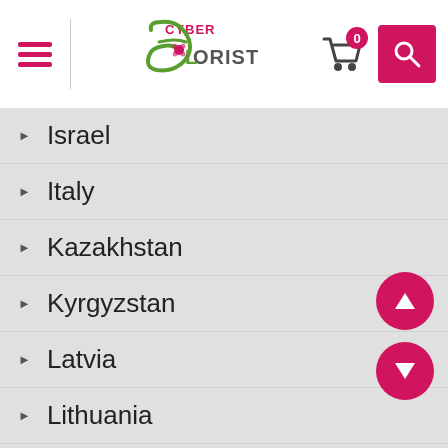[Figure (logo): CyberFlorist logo with stylized F and flower]
Israel
Italy
Kazakhstan
Kyrgyzstan
Latvia
Lithuania
Malaysia
Mexico
Moldova
Netherlands
New Zealand
Norway
Peru
Phillippines
Poland
Portugal